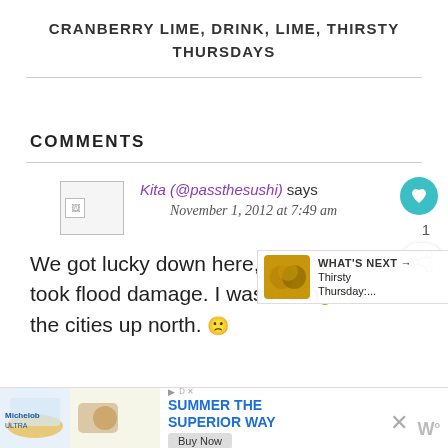CRANBERRY LIME, DRINK, LIME, THIRSTY THURSDAYS
COMMENTS
Kita (@passthesushi) says
November 1, 2012 at 7:49 am
We got lucky down here, but still took flood damage. I was feeling for the cities up north.
[Figure (infographic): WHAT'S NEXT banner with thumbnail image of drink and text 'Thirsty Thursday:...']
[Figure (infographic): Advertisement banner: SUMMER THE SUPERIOR WAY with Buy Now button, beer/burger image, close X button]